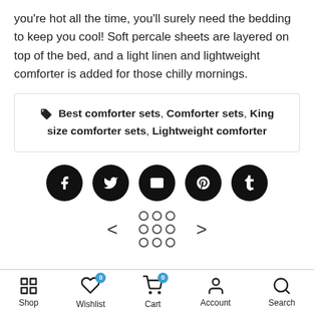you're hot all the time, you'll surely need the bedding to keep you cool! Soft percale sheets are layered on top of the bed, and a light linen and lightweight comforter is added for those chilly mornings.
Best comforter sets, Comforter sets, King size comforter sets, Lightweight comforter
[Figure (infographic): Row of 5 circular black social media share buttons: Facebook, Twitter, Email, Pinterest, Tumblr]
[Figure (infographic): Navigation row with left arrow, 3x3 grid of circles (dots), and right arrow]
Shop | Wishlist (0) | Cart (0) | Account | Search